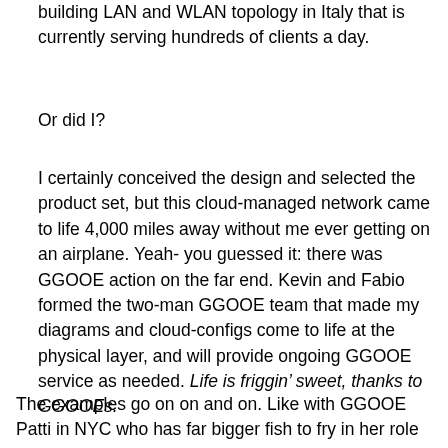building LAN and WLAN topology in Italy that is currently serving hundreds of clients a day.
Or did I?
I certainly conceived the design and selected the product set, but this cloud-managed network came to life 4,000 miles away without me ever getting on an airplane. Yeah- you guessed it: there was GGOOE action on the far end. Kevin and Fabio formed the two-man GGOOE team that made my diagrams and cloud-configs come to life at the physical layer, and will provide ongoing GGOOE service as needed. Life is friggin’ sweet, thanks to GGOOEs.
The examples go on on and on. Like with GGOOE Patti in NYC who has far bigger fish to fry in her role as an Executive Director. But when we Upstate need help with